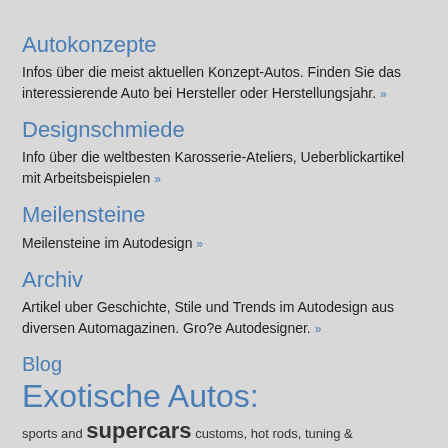Autokonzepte
Infos über die meist aktuellen Konzept-Autos. Finden Sie das interessierende Auto bei Hersteller oder Herstellungsjahr. »
Designschmiede
Info über die weltbesten Karosserie-Ateliers, Ueberblickartikel mit Arbeitsbeispielen »
Meilensteine
Meilensteine im Autodesign »
Archiv
Artikel uber Geschichte, Stile und Trends im Autodesign aus diversen Automagazinen. Gro?e Autodesigner. »
Blog
Exotische Autos:
sports and supercars customs, hot rods, tuning &